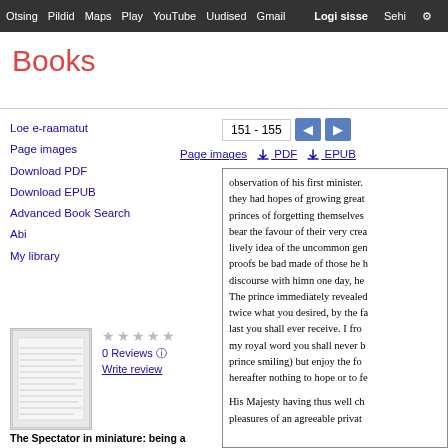Otsing  Pildid  Maps  Play  YouTube  Uudised  Gmail  Logi sisse  Sehi ⚙
Books
151 - 155
Page images  ⬇ PDF  ⬇ EPUB
Loe e-raamatut
Page images
Download PDF
Download EPUB
Advanced Book Search
Abi
My library
[Figure (other): Book cover thumbnail showing a small greyed text page]
0 Reviews  Write review
The Spectator in miniature: being a collection of the principle ..., 1. köide
observation of his first minister. they had hopes of growing great princes of forgetting themselves bear the favour of their very crea lively idea of the uncommon gen proofs be bad made of those he h discourse with himn one day, he The prince immediately revealed twice what you desired, by the fa last you shall ever receive. I fro my royal word you shall never b prince smiling) but enjoy the fo hereafter nothing to hope or to fe

His Majesty having thus well ch pleasures of an agreeable privat